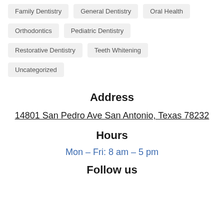Family Dentistry
General Dentistry
Oral Health
Orthodontics
Pediatric Dentistry
Restorative Dentistry
Teeth Whitening
Uncategorized
Address
14801 San Pedro Ave San Antonio, Texas 78232
Hours
Mon – Fri: 8 am – 5 pm
Follow us